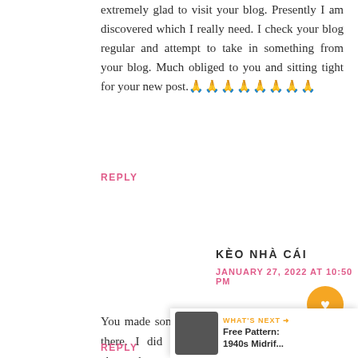extremely glad to visit your blog. Presently I am discovered which I really need. I check your blog regular and attempt to take in something from your blog. Much obliged to you and sitting tight for your new post.🙏🙏🙏🙏🙏🙏🙏🙏
REPLY
KÈO NHÀ CÁI
JANUARY 27, 2022 AT 10:50 PM
You made some good points there. I did a Goo search about the topic and found most people will believe your blog. kèo nhà cái
REPLY